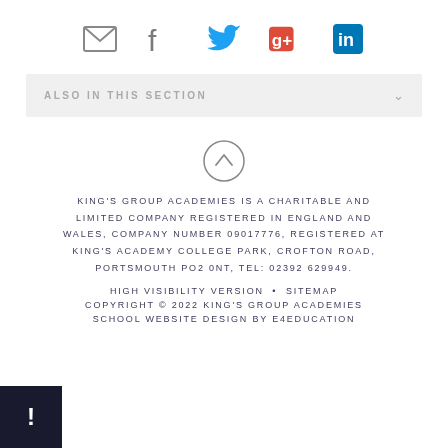[Figure (infographic): Row of 5 social media icons: email/envelope (grey), Facebook (grey), Twitter (blue), Google+ (red/orange), LinkedIn (blue)]
ALSO IN THIS SECTION
[Figure (illustration): Circle with upward-pointing chevron arrow inside, back-to-top button]
KING'S GROUP ACADEMIES IS A CHARITABLE AND LIMITED COMPANY REGISTERED IN ENGLAND AND WALES, COMPANY NUMBER 09017776, REGISTERED AT KING'S ACADEMY COLLEGE PARK, CROFTON ROAD, PORTSMOUTH PO2 0NT, TEL: 02392 629949.
HIGH VISIBILITY VERSION • SITEMAP COPYRIGHT © 2022 KING'S GROUP ACADEMIES SCHOOL WEBSITE DESIGN BY E4EDUCATION